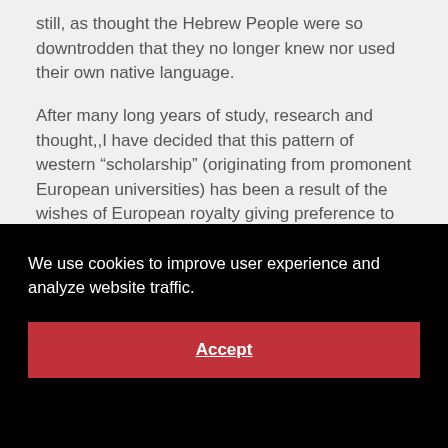still, as thought the Hebrew People were so downtrodden that they no longer knew nor used their own native language.
After many long years of study, research and thought,,I have decided that this pattern of western “scholarship” (originating from promonent European universities) has been a result of the wishes of European royalty giving preference to Roman Imperial wishes from the days of the Caesars to the times of Va[partially obscured]...
In [partially obscured]
speaking Greek to the Roman soldiers who
[Figure (screenshot): Cookie consent overlay with black background. Text reads: 'We use cookies to improve user experience and analyze website traffic.' Below is a red Accept button with underlined white bold text.]